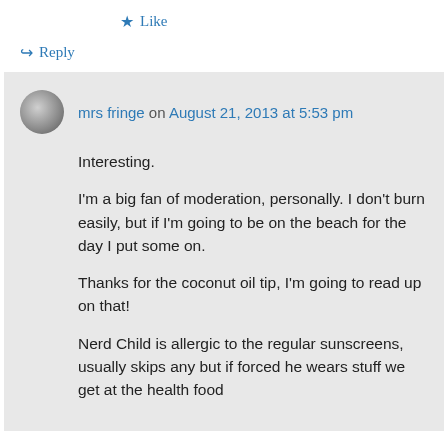★ Like
↪ Reply
mrs fringe on August 21, 2013 at 5:53 pm

Interesting.
I'm a big fan of moderation, personally. I don't burn easily, but if I'm going to be on the beach for the day I put some on.

Thanks for the coconut oil tip, I'm going to read up on that!

Nerd Child is allergic to the regular sunscreens, usually skips any but if forced he wears stuff we get at the health food